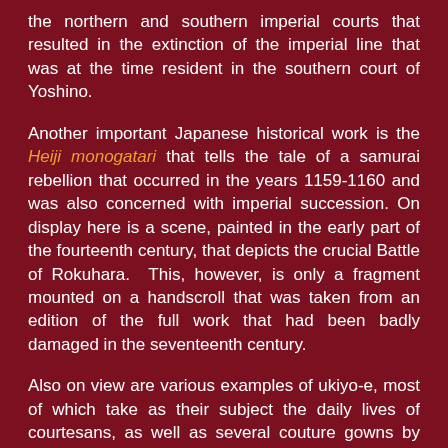the northern and southern imperial courts that resulted in the extinction of the imperial line that was at the time resident in the southern court of Yoshino.
Another important Japanese historical work is the Heiji monogatari that tells the tale of a samurai rebellion that occurred in the years 1159-1160 and was also concerned with imperial succession. On display here is a scene, painted in the early part of the fourteenth century, that depicts the crucial Battle of Rokuhara. This, however, is only a fragment mounted on a handscroll that was taken from an edition of the full work that had been badly damaged in the seventeenth century.
Also on view are various examples of ukiyo-e, most of which take as their subject the daily lives of courtesans, as well as several couture gowns by contemporary designer Hanae Mori that were made to order for use by Ms. Burke.
The exhibit continues through May 14, 2017.